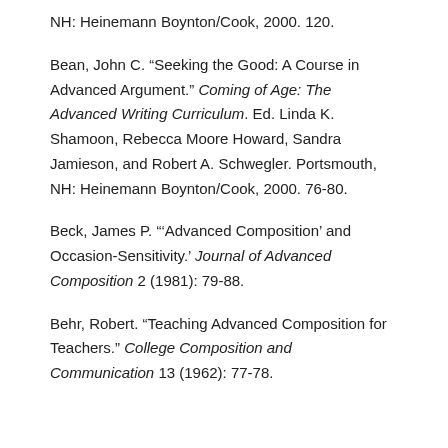NH: Heinemann Boynton/Cook, 2000. 120.
Bean, John C. “Seeking the Good: A Course in Advanced Argument.” Coming of Age: The Advanced Writing Curriculum. Ed. Linda K. Shamoon, Rebecca Moore Howard, Sandra Jamieson, and Robert A. Schwegler. Portsmouth, NH: Heinemann Boynton/Cook, 2000. 76-80.
Beck, James P. “‘Advanced Composition’ and Occasion-Sensitivity.’ Journal of Advanced Composition 2 (1981): 79-88.
Behr, Robert. “Teaching Advanced Composition for Teachers.” College Composition and Communication 13 (1962): 77-78.